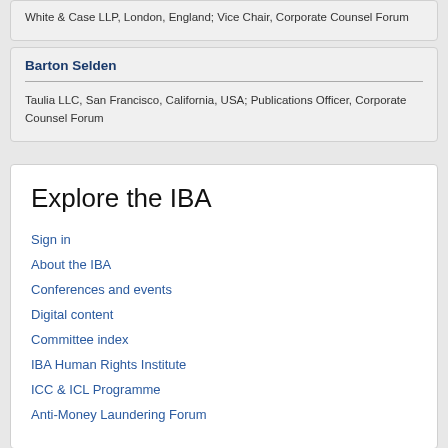White & Case LLP, London, England; Vice Chair, Corporate Counsel Forum
Barton Selden
Taulia LLC, San Francisco, California, USA; Publications Officer, Corporate Counsel Forum
Explore the IBA
Sign in
About the IBA
Conferences and events
Digital content
Committee index
IBA Human Rights Institute
ICC & ICL Programme
Anti-Money Laundering Forum